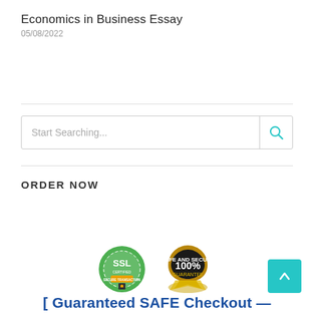Economics in Business Essay
05/08/2022
[Figure (infographic): Search box with placeholder text 'Start Searching...' and a teal search icon on the right]
ORDER NOW
[Figure (infographic): SSL Certified Secure Transaction badge and 100% Safe and Secure Guarantee badge above 'Guaranteed SAFE Checkout' text]
Guaranteed SAFE Checkout